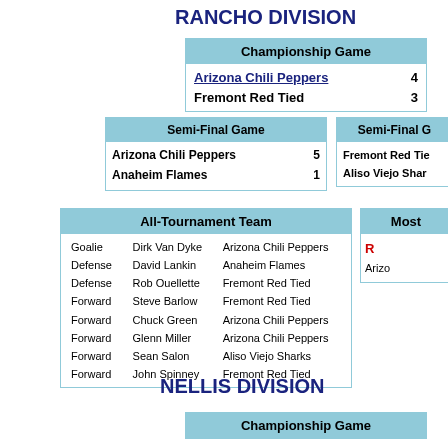RANCHO DIVISION
| Championship Game |
| --- |
| Arizona Chili Peppers | 4 |
| Fremont Red Tied | 3 |
| Semi-Final Game |
| --- |
| Arizona Chili Peppers | 5 |
| Anaheim Flames | 1 |
| Semi-Final G... |
| --- |
| Fremont Red Tie... |  |
| Aliso Viejo Shar... |  |
| All-Tournament Team |
| --- |
| Goalie | Dirk Van Dyke | Arizona Chili Peppers |
| Defense | David Lankin | Anaheim Flames |
| Defense | Rob Ouellette | Fremont Red Tied |
| Forward | Steve Barlow | Fremont Red Tied |
| Forward | Chuck Green | Arizona Chili Peppers |
| Forward | Glenn Miller | Arizona Chili Peppers |
| Forward | Sean Salon | Aliso Viejo Sharks |
| Forward | John Spinney | Fremont Red Tied |
| Most... |
| --- |
| R... | Arizo... |
NELLIS DIVISION
| Championship Game |
| --- |